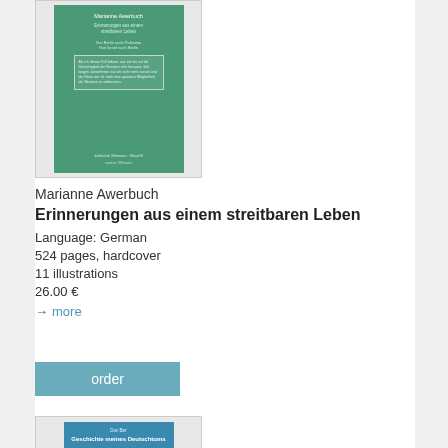[Figure (photo): Book cover of 'Erinnerungen aus einem streitbaren Leben' by Marianne Awerbuch, green cover with white text and a text box excerpt]
Marianne Awerbuch
Erinnerungen aus einem streitbaren Leben
Language: German
524 pages, hardcover
11 illustrations
26.00 €
→  more
order
[Figure (photo): Partial view of another book cover, blue/teal color, with text 'Geschichte meines Deutschtums']